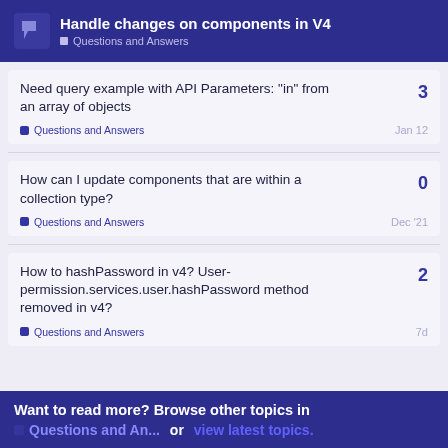Handle changes on components in V4 | Questions and Answers
Need query example with API Parameters: “in” from an array of objects
Questions and Answers  Jan 12  replies: 3
How can I update components that are within a collection type?
Questions and Answers  Dec '21  replies: 0
How to hashPassword in v4? User-permission.services.user.hashPassword method removed in v4?
Questions and Answers  7d  replies: 2
Want to read more? Browse other topics in Questions and An... or view latest topics.